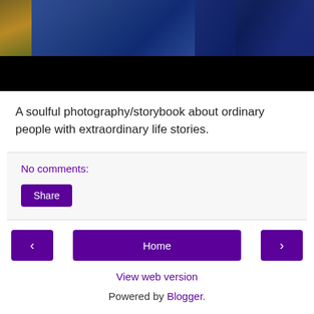[Figure (photo): Photo of a person in a denim jacket against a blurred outdoor background, partially cropped with a black area at the bottom.]
A soulful photography/storybook about ordinary people with extraordinary life stories.
No comments:
Share
‹
Home
›
View web version
Powered by Blogger.